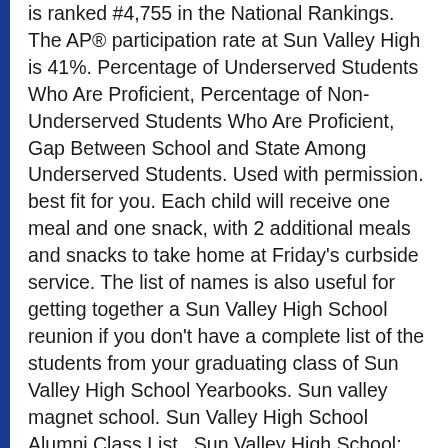is ranked #4,755 in the National Rankings. The AP® participation rate at Sun Valley High is 41%. Percentage of Underserved Students Who Are Proficient, Percentage of Non-Underserved Students Who Are Proficient, Gap Between School and State Among Underserved Students. Used with permission. best fit for you. Each child will receive one meal and one snack, with 2 additional meals and snacks to take home at Friday's curbside service. The list of names is also useful for getting together a Sun Valley High School reunion if you don't have a complete list of the students from your graduating class of Sun Valley High School Yearbooks. Sun valley magnet school. Sun Valley High School Alumni Class List . Sun Valley High School; Sun Valley High School. Sun Valley High School is ranked #10,152 in the National Rankings.Schools are ranked on their performance on state-required tests, graduation and … Used with permission. California Do Not Sell My Personal